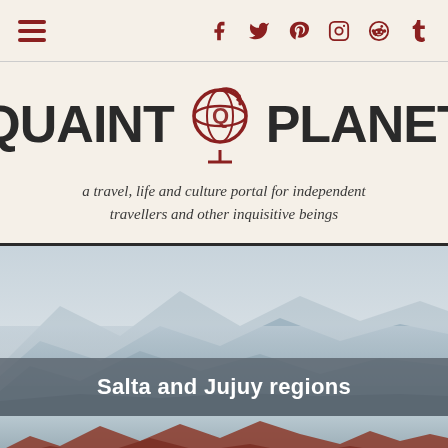Quaint Planet — navigation and social icons bar
QUAINT PLANET
a travel, life and culture portal for independent travellers and other inquisitive beings
[Figure (photo): Misty mountain landscape with hazy sky, showing layered mountains in soft blue-grey tones]
Salta and Jujuy regions
[Figure (photo): Red and rust-colored mountain landscape at the bottom of the page]